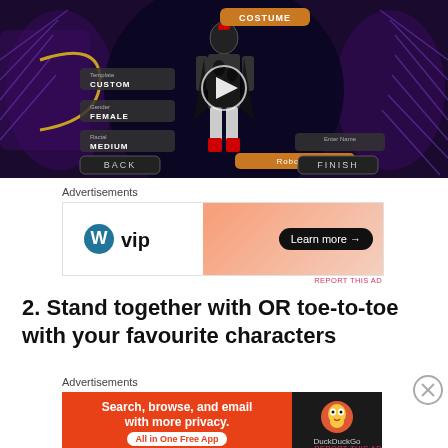[Figure (screenshot): Video thumbnail showing a video game character customization screen with a female character in costume, with COSTUME, CUSTOM, FEMALE, MEDIUM labels, Enter Name field showing Robot M, BACK and FINISH buttons, purple alien-themed UI, with a play button overlay]
Advertisements
[Figure (other): WordPress VIP advertisement banner with WP VIP logo on white background left side, orange/peach gradient right side with 'Learn more →' black pill button]
REPORT THIS AD
2. Stand together with OR toe-to-toe with your favourite characters
Advertisements
[Figure (other): DuckDuckGo advertisement banner: orange background left with text 'Search, browse, and email with more privacy.' and 'All in One Free App' white pill, dark right side with DuckDuckGo duck logo and DuckDuckGo text]
REPORT THIS AD